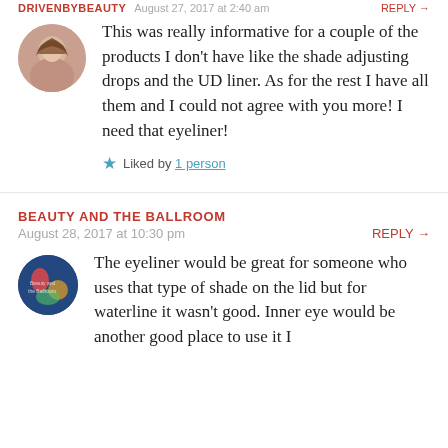DRIVENBYBEAUTY  August 27, 2017 at 2:40 am  REPLY →
This was really informative for a couple of the products I don't have like the shade adjusting drops and the UD liner. As for the rest I have all them and I could not agree with you more! I need that eyeliner!
★ Liked by 1 person
BEAUTY AND THE BALLROOM
August 28, 2017 at 10:30 pm  REPLY →
The eyeliner would be great for someone who uses that type of shade on the lid but for waterline it wasn't good. Inner eye would be another good place to use it I